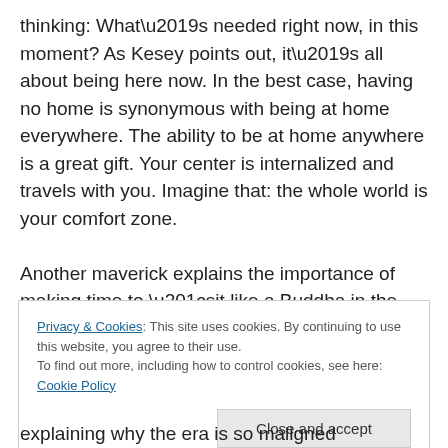thinking: What's needed right now, in this moment? As Kesey points out, it's all about being here now. In the best case, having no home is synonymous with being at home everywhere. The ability to be at home anywhere is a great gift. Your center is internalized and travels with you. Imagine that: the whole world is your comfort zone.

Another maverick explains the importance of making time to “sit like a Buddha in the sand dunes and see if there’s any messages on our e-mail through the cosmic messenger service.” This is the bottom line, really: to
Privacy & Cookies: This site uses cookies. By continuing to use this website, you agree to their use.
To find out more, including how to control cookies, see here: Cookie Policy
Close and accept
explaining why the era is so maligned